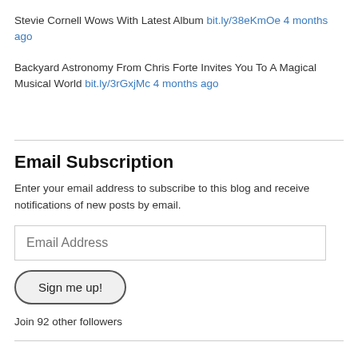Stevie Cornell Wows With Latest Album bit.ly/38eKmOe 4 months ago
Backyard Astronomy From Chris Forte Invites You To A Magical Musical World bit.ly/3rGxjMc 4 months ago
Email Subscription
Enter your email address to subscribe to this blog and receive notifications of new posts by email.
Email Address
Sign me up!
Join 92 other followers